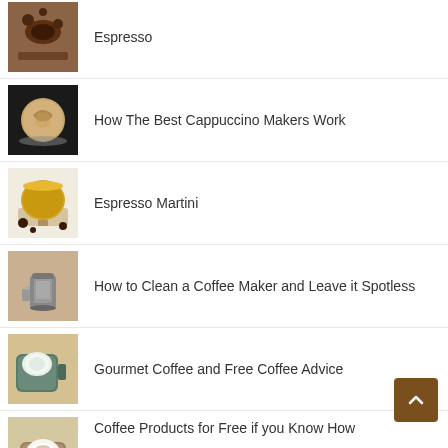Espresso
How The Best Cappuccino Makers Work
Espresso Martini
How to Clean a Coffee Maker and Leave it Spotless
Gourmet Coffee and Free Coffee Advice
Coffee Products for Free if you Know How